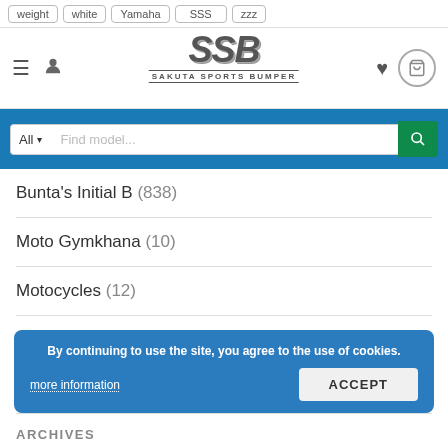weight  white  Yamaha  SSS  SAKUTA SPORTS BUMPER
[Figure (logo): SSB Sakuta Sports Bumper logo with stylized SSB lettering and tagline]
All ▾  Find model...
Bunta's Initial B (838)
Moto Gymkhana (10)
Motocycles (12)
Riding (9)
Touring Japan by motorcycle (2)
Tournament Video Archive (2)
Uncategorised (2)
By continuing to use the site, you agree to the use of cookies.
more information
ACCEPT
ARCHIVES